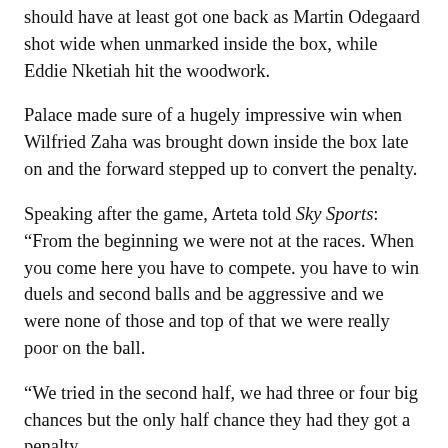should have at least got one back as Martin Odegaard shot wide when unmarked inside the box, while Eddie Nketiah hit the woodwork.
Palace made sure of a hugely impressive win when Wilfried Zaha was brought down inside the box late on and the forward stepped up to convert the penalty.
Speaking after the game, Arteta told Sky Sports: “From the beginning we were not at the races. When you come here you have to compete. you have to win duels and second balls and be aggressive and we were none of those and top of that we were really poor on the ball.
“We tried in the second half, we had three or four big chances but the only half chance they had they got a penalty.
Arteta apologetic after defeat
“It is time to accept the criticism, put your hand up and apologise because this performance was not good enough for this club and then react. When everything goes well everyone wants to be there and be supportive